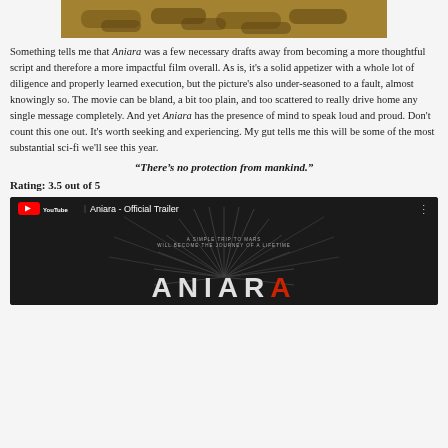[Figure (photo): Photo of people lying down, warm golden lighting, viewed from above]
Something tells me that Aniara was a few necessary drafts away from becoming a more thoughtful script and therefore a more impactful film overall. As is, it's a solid appetizer with a whole lot of diligence and properly learned execution, but the picture's also under-seasoned to a fault, almost knowingly so. The movie can be bland, a bit too plain, and too scattered to really drive home any single message completely. And yet Aniara has the presence of mind to speak loud and proud. Don't count this one out. It's worth seeking and experiencing. My gut tells me this will be some of the most substantial sci-fi we'll see this year.
“There’s no protection from mankind.”
Rating: 3.5 out of 5
[Figure (screenshot): YouTube embed showing Aniara - Official Trailer with dark background featuring radiating lines and partial movie title text]